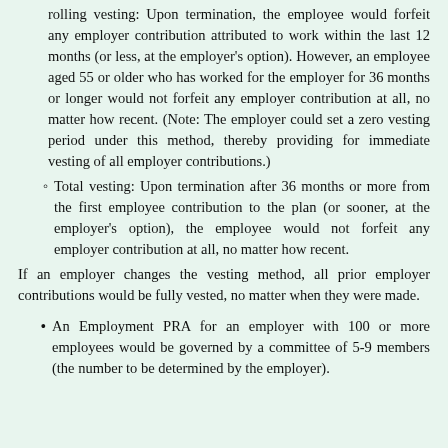rolling vesting: Upon termination, the employee would forfeit any employer contribution attributed to work within the last 12 months (or less, at the employer's option). However, an employee aged 55 or older who has worked for the employer for 36 months or longer would not forfeit any employer contribution at all, no matter how recent. (Note: The employer could set a zero vesting period under this method, thereby providing for immediate vesting of all employer contributions.)
Total vesting: Upon termination after 36 months or more from the first employee contribution to the plan (or sooner, at the employer's option), the employee would not forfeit any employer contribution at all, no matter how recent.
If an employer changes the vesting method, all prior employer contributions would be fully vested, no matter when they were made.
An Employment PRA for an employer with 100 or more employees would be governed by a committee of 5-9 members (the number to be determined by the employer).